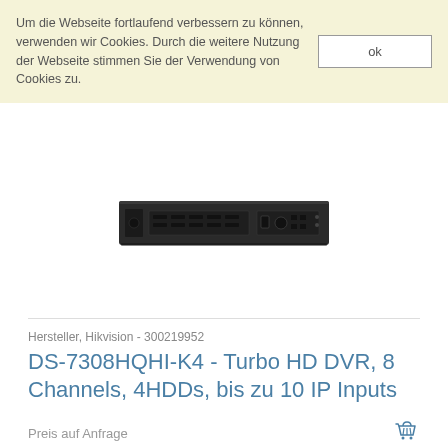Um die Webseite fortlaufend verbessern zu können, verwenden wir Cookies. Durch die weitere Nutzung der Webseite stimmen Sie der Verwendung von Cookies zu.
ok
[Figure (photo): Hikvision DS-7308HQHI-K4 Turbo HD DVR device, black rack-mount unit with front panel showing ports and controls]
Hersteller, Hikvision - 300219952
DS-7308HQHI-K4 - Turbo HD DVR, 8 Channels, 4HDDs, bis zu 10 IP Inputs
Preis auf Anfrage